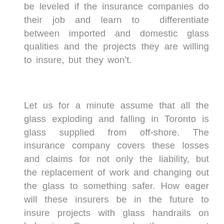be leveled if the insurance companies do their job and learn to differentiate between imported and domestic glass qualities and the projects they are willing to insure, but they won't.
Let us for a minute assume that all the glass exploding and falling in Toronto is glass supplied from off-shore. The insurance company covers these losses and claims for not only the liability, but the replacement of work and changing out the glass to something safer. How eager will these insurers be in the future to insure projects with glass handrails on balconies. One can make the argument that all the glass on these projects came from someplace else, other than North America, who